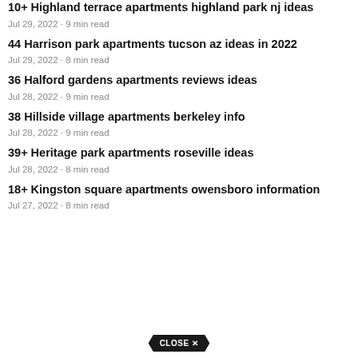10+ Highland terrace apartments highland park nj ideas
Jul 29, 2022 · 9 min read
44 Harrison park apartments tucson az ideas in 2022
Jul 29, 2022 · 8 min read
36 Halford gardens apartments reviews ideas
Jul 28, 2022 · 9 min read
38 Hillside village apartments berkeley info
Jul 28, 2022 · 9 min read
39+ Heritage park apartments roseville ideas
Jul 28, 2022 · 8 min read
18+ Kingston square apartments owensboro information
Jul 27, 2022 · 8 min read